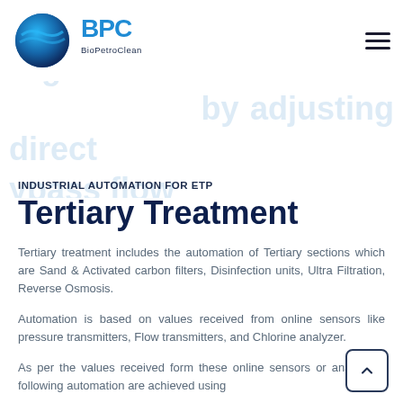BioPetroClean logo and navigation
INDUSTRIAL AUTOMATION FOR ETP
Tertiary Treatment
Tertiary treatment includes the automation of Tertiary sections which are Sand & Activated carbon filters, Disinfection units, Ultra Filtration, Reverse Osmosis.
Automation is based on values received from online sensors like pressure transmitters, Flow transmitters, and Chlorine analyzer.
As per the values received form these online sensors or analyzers, following automation are achieved using